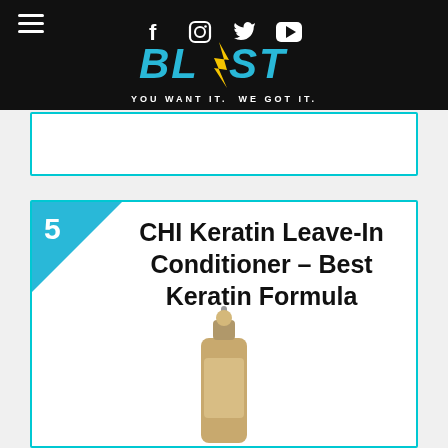BLAST - YOU WANT IT. WE GOT IT. (with social icons: Facebook, Instagram, Twitter, YouTube)
[Figure (logo): BLAST logo with lightning bolt star, tagline: YOU WANT IT. WE GOT IT.]
5 CHI Keratin Leave-In Conditioner – Best Keratin Formula
[Figure (photo): CHI Keratin Leave-In Conditioner spray bottle product image]